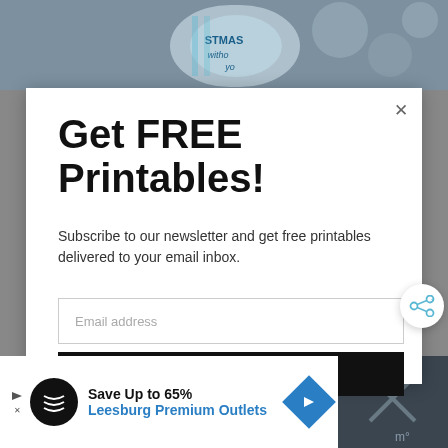[Figure (photo): Background photo strip at top showing decorative Christmas printable tag with teal/blue colors and text partially visible]
Get FREE Printables!
Subscribe to our newsletter and get free printables delivered to your email inbox.
Email address
Subscribe
[Figure (photo): Background photo strip at bottom showing dark scene]
Save Up to 65% Leesburg Premium Outlets